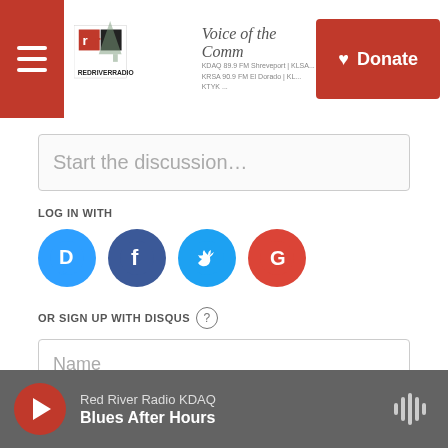Voice of the Community — Red River Radio — Donate
Start the discussion…
LOG IN WITH
[Figure (other): Social login icons: Disqus (blue circle with D), Facebook (dark blue circle with f), Twitter (light blue circle with bird), Google (red circle with G)]
OR SIGN UP WITH DISQUS
Name
Be the first to comment.
Red River Radio KDAQ — Blues After Hours